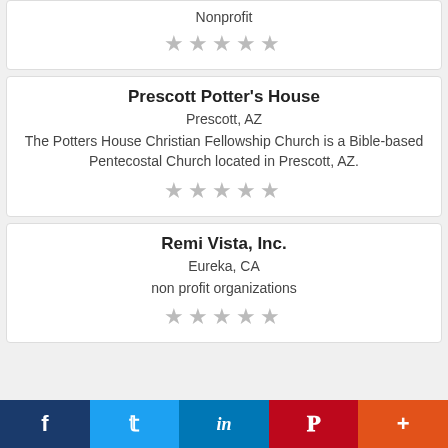Nonprofit ★★★★★
Prescott Potter's House
Prescott, AZ
The Potters House Christian Fellowship Church is a Bible-based Pentecostal Church located in Prescott, AZ.
★★★★★
Remi Vista, Inc.
Eureka, CA
non profit organizations
★★★★★
f  t  in  P  +